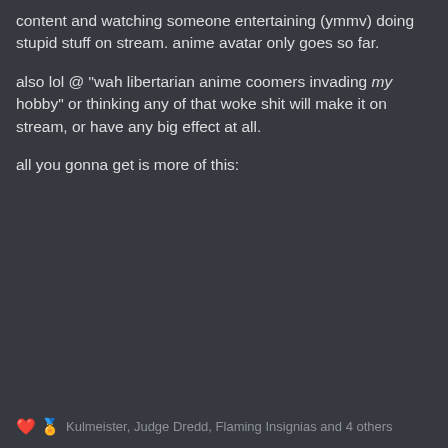content and watching someone entertaining (ymmv) doing stupid stuff on stream. anime avatar only goes so far.
also lol @ "wah libertarian anime coomers invading my hobby" or thinking any of that woke shit will make it on stream, or have any big effect at all.

all you gonna get is more of this:
❤️🏅 Kulmeister, Judge Dredd, Flaming Insignias and 4 others